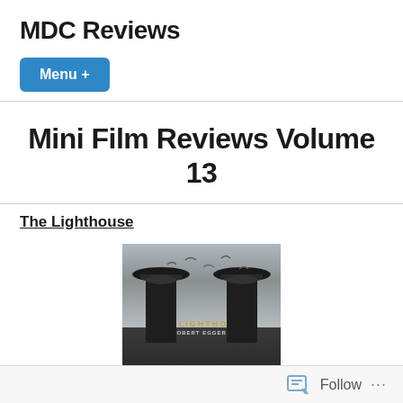MDC Reviews
Menu +
Mini Film Reviews Volume 13
The Lighthouse
[Figure (photo): Grayscale movie poster for The Lighthouse, showing two figures in captain-style hats against a cloudy sky with birds, title text in the middle.]
Follow ...